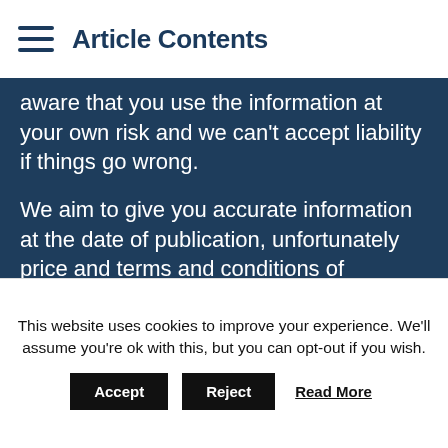Article Contents
aware that you use the information at your own risk and we can't accept liability if things go wrong.

We aim to give you accurate information at the date of publication, unfortunately price and terms and conditions of products and offers can change, so double check first. Leadenhall Learning, Money to the Masses, 80-20 Investor, Damien's Money MOT nor its content providers are responsible for any damages or losses arising from any use of this information. Always do your own research to ensure any products or services and right for your
This website uses cookies to improve your experience. We'll assume you're ok with this, but you can opt-out if you wish.